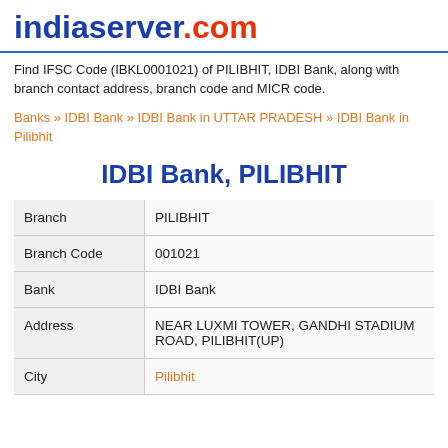[Figure (logo): indiaserver.com logo in blue and red]
Find IFSC Code (IBKL0001021) of PILIBHIT, IDBI Bank, along with branch contact address, branch code and MICR code.
Banks » IDBI Bank » IDBI Bank in UTTAR PRADESH » IDBI Bank in Pilibhit
IDBI Bank, PILIBHIT
| Field | Value |
| --- | --- |
| Branch | PILIBHIT |
| Branch Code | 001021 |
| Bank | IDBI Bank |
| Address | NEAR LUXMI TOWER, GANDHI STADIUM ROAD, PILIBHIT(UP) |
| City | Pilibhit |